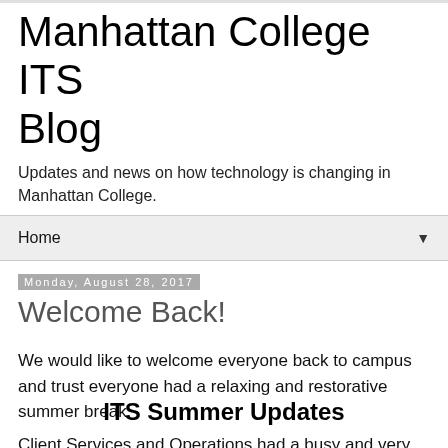Manhattan College ITS Blog
Updates and news on how technology is changing in Manhattan College.
Home ▼
Monday, August 28, 2017
Welcome Back!
We would like to welcome everyone back to campus and trust everyone had a relaxing and restorative summer break.
ITS Summer Updates
Client Services and Operations had a busy and very productive summer and would like to share some of our